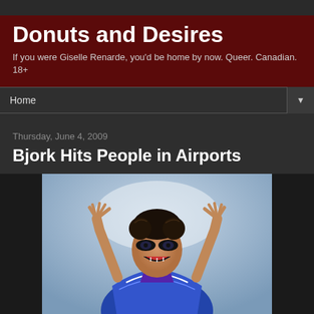Donuts and Desires
If you were Giselle Renarde, you'd be home by now. Queer. Canadian. 18+
Home
Thursday, June 4, 2009
Bjork Hits People in Airports
[Figure (photo): Person with arms raised and mouth open wide, wearing colorful patterned outfit, dramatic makeup, performing expressively]